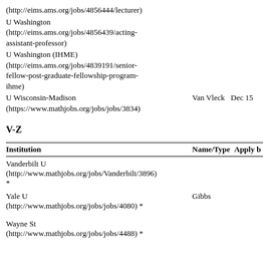(http://eims.ams.org/jobs/4856444/lecturer)
U Washington (http://eims.ams.org/jobs/4856439/acting-assistant-professor)
U Washington (IHME) (http://eims.ams.org/jobs/4839191/senior-fellow-post-graduate-fellowship-program-ihme)
U Wisconsin-Madison (https://www.mathjobs.org/jobs/jobs/3834)   Van Vleck   Dec 15
V-Z
| Institution | Name/Type | Apply b |
| --- | --- | --- |
| Vanderbilt U (http://www.mathjobs.org/jobs/Vanderbilt/3896) * |  |  |
| Yale U (http://www.mathjobs.org/jobs/jobs/4080) * | Gibbs |  |
| Wayne St (http://www.mathjobs.org/jobs/jobs/4488) * |  |  |